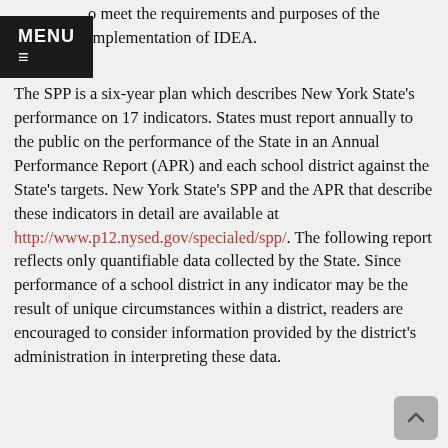MENU ≡
Performance Plan (SPP) to evaluate the State's o meet the requirements and purposes of the implementation of IDEA.
The SPP is a six-year plan which describes New York State's performance on 17 indicators. States must report annually to the public on the performance of the State in an Annual Performance Report (APR) and each school district against the State's targets. New York State's SPP and the APR that describe these indicators in detail are available at http://www.p12.nysed.gov/specialed/spp/. The following report reflects only quantifiable data collected by the State. Since performance of a school district in any indicator may be the result of unique circumstances within a district, readers are encouraged to consider information provided by the district's administration in interpreting these data.